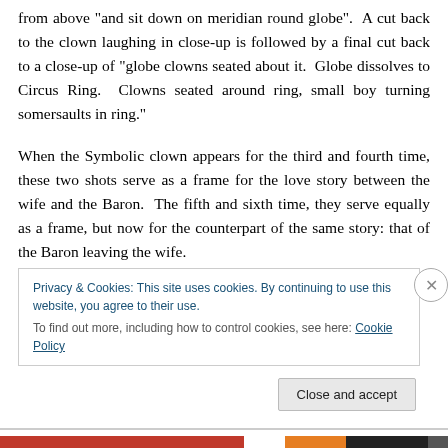from above "and sit down on meridian round globe". A cut back to the clown laughing in close-up is followed by a final cut back to a close-up of "globe clowns seated about it. Globe dissolves to Circus Ring. Clowns seated around ring, small boy turning somersaults in ring."
When the Symbolic clown appears for the third and fourth time, these two shots serve as a frame for the love story between the wife and the Baron. The fifth and sixth time, they serve equally as a frame, but now for the counterpart of the same story: that of the Baron leaving the wife.
Privacy & Cookies: This site uses cookies. By continuing to use this website, you agree to their use.
To find out more, including how to control cookies, see here: Cookie Policy
Close and accept